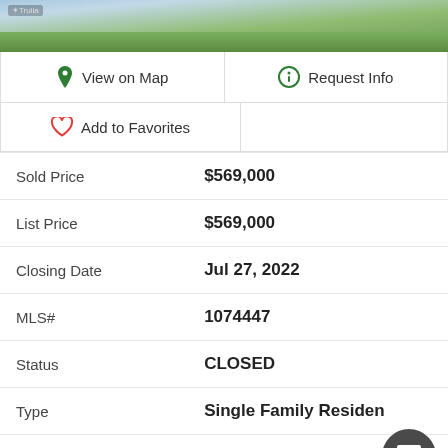[Figure (photo): Aerial or landscape photo of property with green lawn and sky]
View on Map
Request Info
Add to Favorites
| Field | Value |
| --- | --- |
| Sold Price | $569,000 |
| List Price | $569,000 |
| Closing Date | Jul 27, 2022 |
| MLS# | 1074447 |
| Status | CLOSED |
| Type | Single Family Residence |
| Subtype | Stick/Site Built |